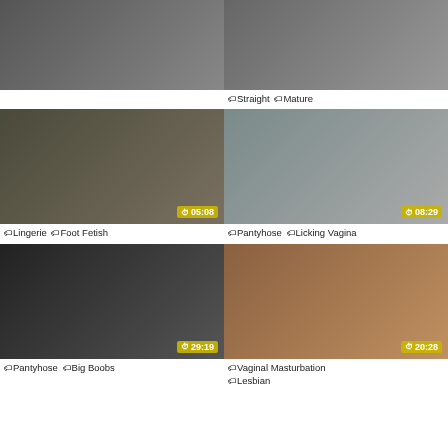[Figure (photo): Thumbnail 1: Woman in fishnet stockings and heels seated on white surface]
[Figure (photo): Thumbnail 2: Woman in black pantyhose in bathroom, tags: Straight, Mature]
[Figure (photo): Thumbnail 3: Legs in pantyhose under skirt, duration 05:08, tags: Lingerie, Foot Fetish]
[Figure (photo): Thumbnail 4: Woman in pantyhose on bed, duration 08:29, tags: Pantyhose, Licking Vagina]
[Figure (photo): Thumbnail 5: Woman in black pantyhose on floor, duration 29:19, tags: Pantyhose, Big Boobs]
[Figure (photo): Thumbnail 6: Close-up scene, duration 20:28, tags: Vaginal Masturbation, Lesbian]